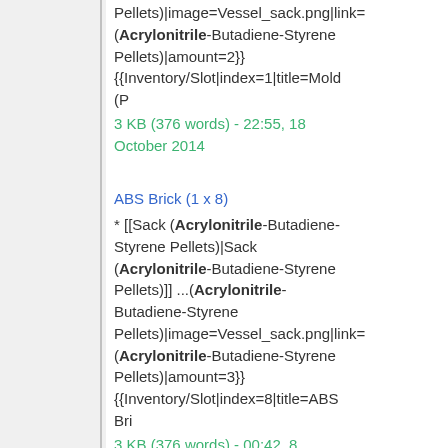Pellets)|image=Vessel_sack.png|link=(Acrylonitrile-Butadiene-Styrene Pellets)|amount=2}} {{Inventory/Slot|index=1|title=Mold (P
3 KB (376 words) - 22:55, 18 October 2014
ABS Brick (1 x 8)
* [[Sack (Acrylonitrile-Butadiene-Styrene Pellets)|Sack (Acrylonitrile-Butadiene-Styrene Pellets)]] ...(Acrylonitrile-Butadiene-Styrene Pellets)|image=Vessel_sack.png|link=(Acrylonitrile-Butadiene-Styrene Pellets)|amount=3}} {{Inventory/Slot|index=8|title=ABS Bri
3 KB (376 words) - 00:42, 8 February 2015